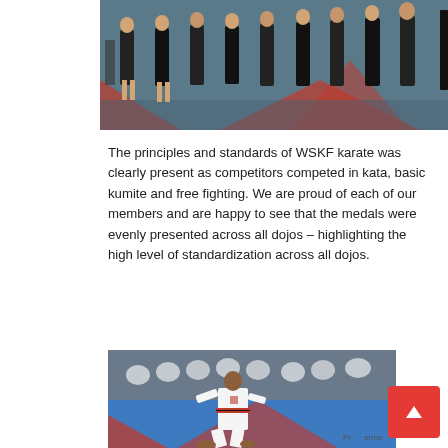[Figure (photo): Group of people in dark clothing standing on a blue and red martial arts mat in a dojo/sports hall]
The principles and standards of WSKF karate was clearly present as competitors competed in kata, basic kumite and free fighting. We are proud of each of our members and are happy to see that the medals were evenly presented across all dojos – highlighting the high level of standardization across all dojos.
[Figure (photo): A karate competitor wearing white gi and red belt performing a kata stance on blue and red mats, with spectators in the background]